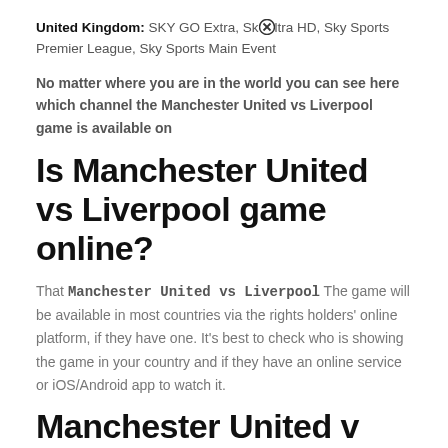United Kingdom: SKY GO Extra, Sky [X] ltra HD, Sky Sports Premier League, Sky Sports Main Event
No matter where you are in the world you can see here which channel the Manchester United vs Liverpool game is available on
Is Manchester United vs Liverpool game online?
That Manchester United vs Liverpool The game will be available in most countries via the rights holders' online platform, if they have one. It's best to check who is showing the game in your country and if they have an online service or iOS/Android app to watch it.
Manchester United v Liverpool: Live coverage from AS [X] USA